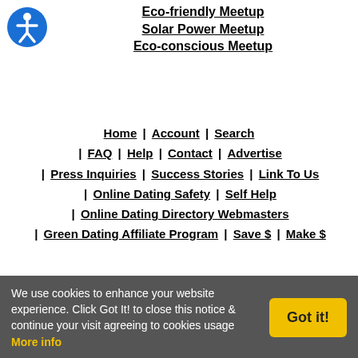[Figure (logo): Blue circle accessibility icon with white stick figure person, wheelchair accessible symbol style]
Eco-friendly Meetup
Solar Power Meetup
Eco-conscious Meetup
Home | Account | Search
| FAQ | Help | Contact | Advertise
| Press Inquiries | Success Stories | Link To Us
| Online Dating Safety | Self Help
| Online Dating Directory Webmasters
| Green Dating Affiliate Program | Save $ | Make $
We use cookies to enhance your website experience. Click Got It! to close this notice & continue your visit agreeing to cookies usage More info